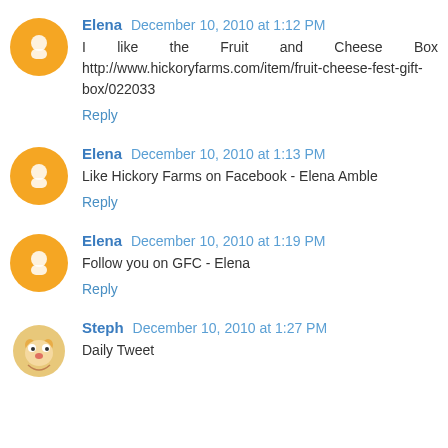Elena December 10, 2010 at 1:12 PM
I like the Fruit and Cheese Box http://www.hickoryfarms.com/item/fruit-cheese-fest-gift-box/022033
Reply
Elena December 10, 2010 at 1:13 PM
Like Hickory Farms on Facebook - Elena Amble
Reply
Elena December 10, 2010 at 1:19 PM
Follow you on GFC - Elena
Reply
Steph December 10, 2010 at 1:27 PM
Daily Tweet